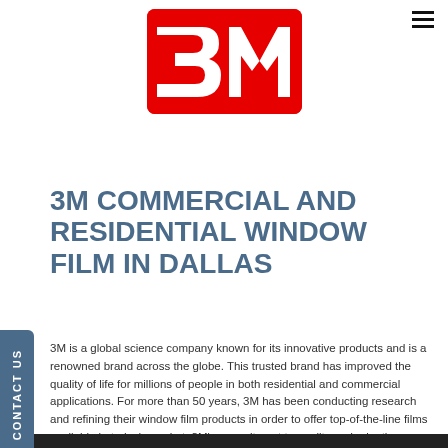[Figure (logo): 3M logo in red with white cutouts forming the '3M' text]
3M COMMERCIAL AND RESIDENTIAL WINDOW FILM IN DALLAS
3M is a global science company known for its innovative products and is a renowned brand across the globe. This trusted brand has improved the quality of life for millions of people in both residential and commercial applications. For more than 50 years, 3M has been conducting research and refining their window film products in order to offer top-of-the-line films available in today's market. 3M's commitment to quality and relentless innovation is apparent in all their constant release of new products as well as the durability of their staple products.